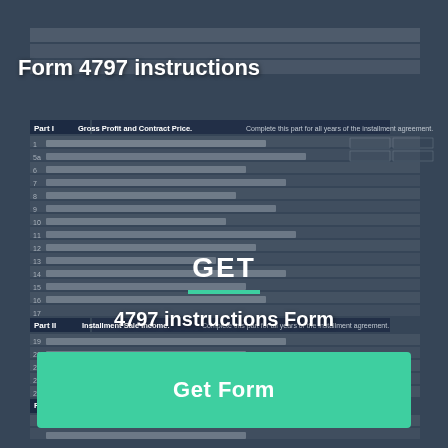[Figure (screenshot): Background image of IRS Form 4797 tax document with dark blue-gray overlay, showing multiple numbered lines for Gross Profit and Contract Price (Part I), Installment Sale Income (Part II), and Related Party Installment Sale Income (Part III).]
Form 4797 instructions
GET
4797 instructions Form
Get Form